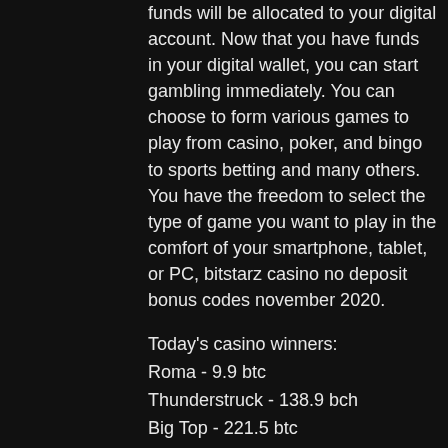funds will be allocated to your digital account. Now that you have funds in your digital wallet, you can start gambling immediately. You can choose to form various games to play from casino, poker, and bingo to sports betting and many others. You have the freedom to select the type of game you want to play in the comfort of your smartphone, tablet, or PC, bitstarz casino no deposit bonus codes november 2020.
Today's casino winners:
Roma - 9.9 btc
Thunderstruck - 138.9 bch
Big Top - 221.5 btc
Flying Horse - 131.6 bch
Mega Power Heroes - 431.3 usdt
Downtown - 741.4 bch
Golden Shot - 565 btc
Wild Shark - 482.5 eth
Duck Shooter moorhuhn Shooter - 482.8 btc